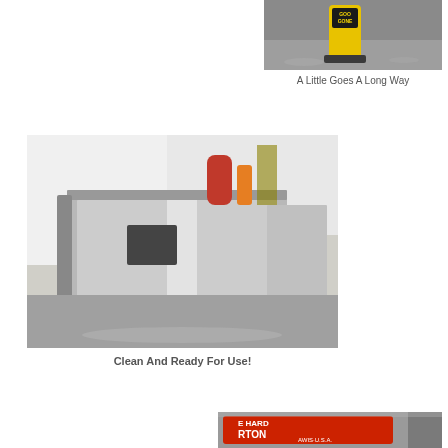[Figure (photo): Goo Gone product bottle sitting on a surface in a garage setting]
A Little Goes A Long Way
[Figure (photo): Clean table saw with shiny metal surface, ready for use in a garage workshop]
Clean And Ready For Use!
[Figure (photo): Close-up of a Norton brand badge/label on a tool surface]